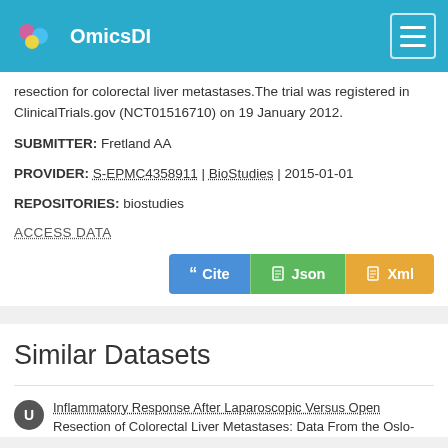OmicsDI
resection for colorectal liver metastases.The trial was registered in ClinicalTrials.gov (NCT01516710) on 19 January 2012.
SUBMITTER: Fretland AA
PROVIDER: S-EPMC4358911 | BioStudies | 2015-01-01
REPOSITORIES: biostudies
ACCESS DATA
[Figure (other): Three buttons: Cite (blue), Json (green), Xml (orange)]
Similar Datasets
Inflammatory Response After Laparoscopic Versus Open Resection of Colorectal Liver Metastases: Data From the Oslo-